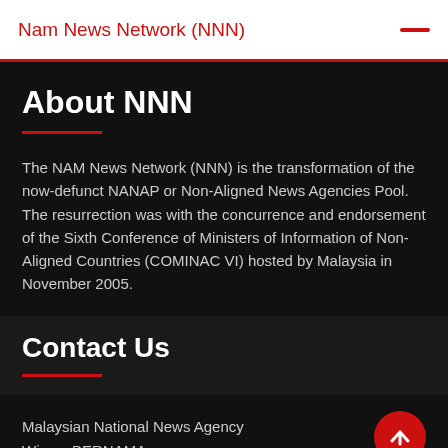Nam News Network (NNN)
About NNN
The NAM News Network (NNN) is the transformation of the now-defunct NANAP or Non-Aligned News Agencies Pool. The resurrection was with the concurrence and endorsement of the Sixth Conference of Ministers of Information of Non-Aligned Countries (COMINAC VI) hosted by Malaysia in November 2005.
Contact Us
Malaysian National News Agency
Wisma BERNAMA,